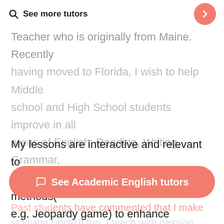See more tutors
Teacher who is originally from Maine. Recently having moved to Florida, I wish to help Middle school and High School students improve in all areas of English: Reading, Writing, Grammar, Vocabulary, and Public Speaking.
My lessons are interactive and relevant to students, using traditional and creative methods(e.g. Jeopardy game) to enhance students' performances in required areas of Language Arts.
See Academic English tutors
Past students have commented that I make studying English fun. I teach with passion, humor